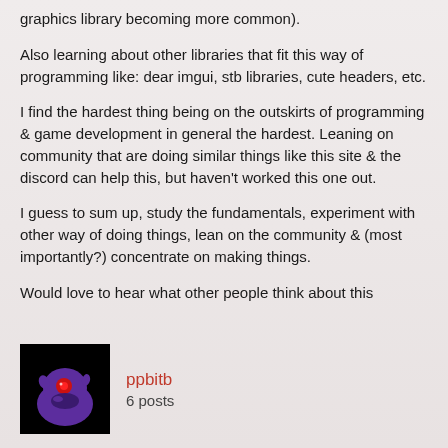graphics library becoming more common).
Also learning about other libraries that fit this way of programming like: dear imgui, stb libraries, cute headers, etc.
I find the hardest thing being on the outskirts of programming & game development in general the hardest. Leaning on community that are doing similar things like this site & the discord can help this, but haven't worked this one out.
I guess to sum up, study the fundamentals, experiment with other way of doing things, lean on the community & (most importantly?) concentrate on making things.
Would love to hear what other people think about this
[Figure (illustration): Pixel art avatar of a purple creature/character with a red eye on a black background]
ppbitb
6 posts